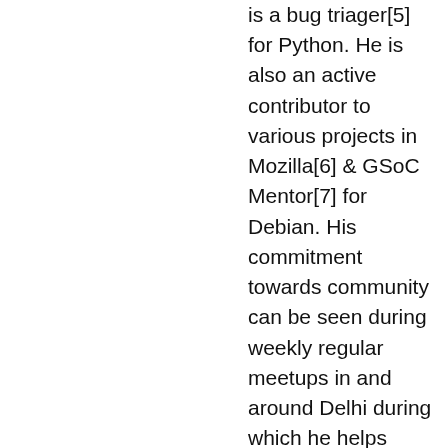is a bug triager[5] for Python. He is also an active contributor to various projects in Mozilla[6] & GSoC Mentor[7] for Debian. His commitment towards community can be seen during weekly regular meetups in and around Delhi during which he helps other organizers. He has been sharing his experience and journey through Open Source Contributions with the community and helping folks out to get started with the same.
Sanyam Khurana - [email icon] sanyam.khurana01@gmail.com
[0] [globe icon] https://pydelhi.org/ [1]